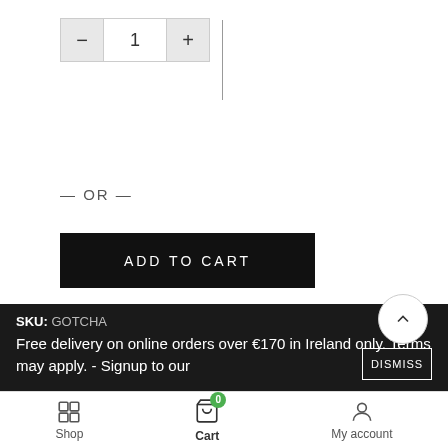[Figure (screenshot): Quantity selector with minus button, value 1, and plus button, plus a vertical divider line]
— OR —
ADD TO CART
Can't find what you are looking for?
Add to wishlist
SKU: GOTCHA
Free delivery on online orders over €170 in Ireland only. Terms may apply. - Signup to our
DISMISS
Shop  Cart  My account